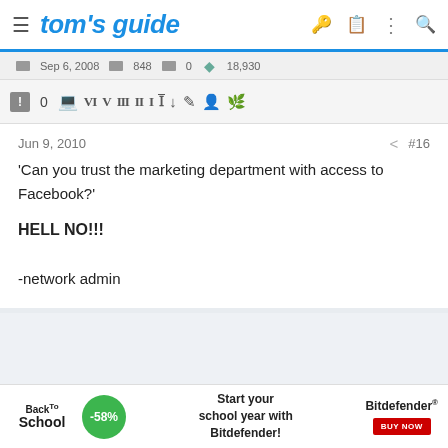tom's guide
[Figure (screenshot): Forum toolbar row showing date Sep 6, 2008, count 848, 0, 18,930 and formatting icons]
[Figure (screenshot): Forum post toolbar with warning icon, 0, monitor icon, roman numerals VI V III II I and other editing icons]
Jun 9, 2010   #16
'Can you trust the marketing department with access to Facebook?'
HELL NO!!!
-network admin
[Figure (screenshot): Advertisement banner: Back To School -58% Start your school year with Bitdefender! Bitdefender BUY NOW]